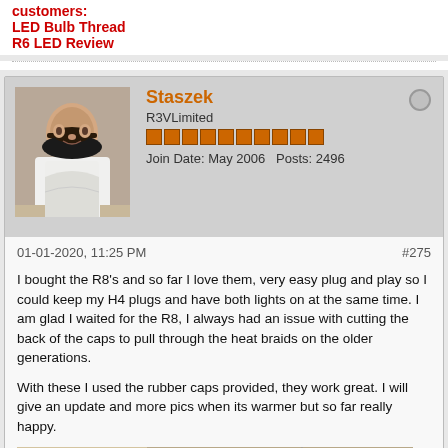customers:
LED Bulb Thread
R6 LED Review
Staszek
R3VLimited
Join Date: May 2006   Posts: 2496
01-01-2020, 11:25 PM
#275
I bought the R8's and so far I love them, very easy plug and play so I could keep my H4 plugs and have both lights on at the same time. I am glad I waited for the R8, I always had an issue with cutting the back of the caps to pull through the heat braids on the older generations.

With these I used the rubber caps provided, they work great. I will give an update and more pics when its warmer but so far really happy.
[Figure (photo): Photo of car headlight assembly components disassembled on a table, showing black headlight housing parts and wiring.]